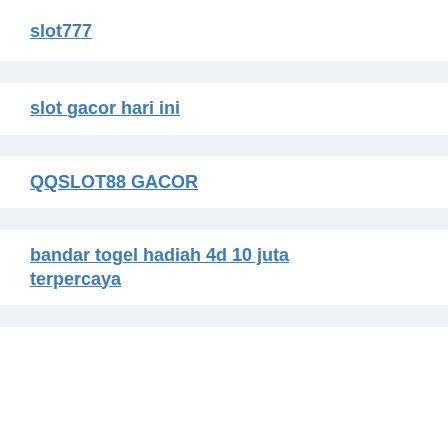slot777
slot gacor hari ini
QQSLOT88 GACOR
bandar togel hadiah 4d 10 juta terpercaya